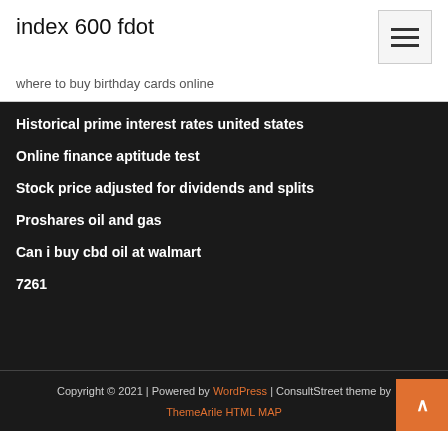index 600 fdot
where to buy birthday cards online
Historical prime interest rates united states
Online finance aptitude test
Stock price adjusted for dividends and splits
Proshares oil and gas
Can i buy cbd oil at walmart
7261
Copyright © 2021 | Powered by WordPress | ConsultStreet theme by ThemeArile HTML MAP